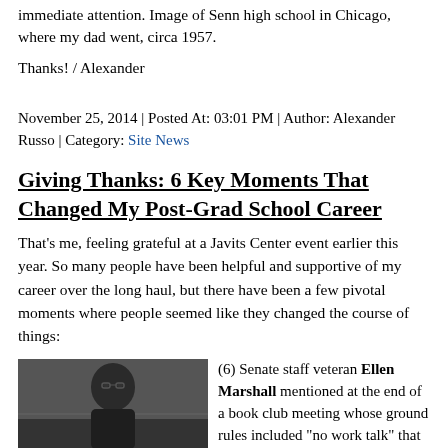immediate attention. Image of Senn high school in Chicago, where my dad went, circa 1957.
Thanks! / Alexander
November 25, 2014 | Posted At: 03:01 PM | Author: Alexander Russo | Category: Site News
Giving Thanks: 6 Key Moments That Changed My Post-Grad School Career
That's me, feeling grateful at a Javits Center event earlier this year. So many people have been helpful and supportive of my career over the long haul, but there have been a few pivotal moments where people seemed like they changed the course of things:
[Figure (photo): Photo of a man with glasses and a beard at what appears to be an event, partially visible in the bottom-left of the page]
(6) Senate staff veteran Ellen Marshall mentioned at the end of a book club meeting whose ground rules included "no work talk" that she was leaving her job as Feinstein's education. As to follow Tim Wirth that